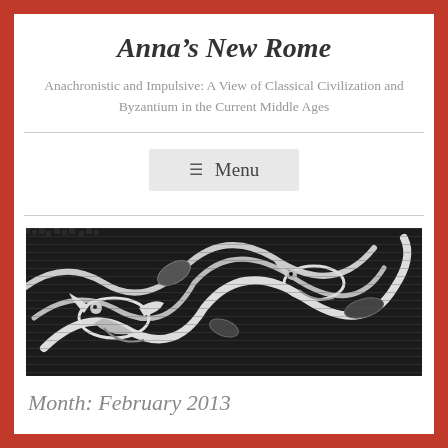Anna's New Rome
Anachronistic and Impulsive: A View of Classical Civilization and Byzantium in the Current Middle Ages
[Figure (screenshot): Hamburger menu button with three horizontal lines and the text Menu on a light gray background]
[Figure (photo): Black and white close-up photograph of an ancient Roman or Byzantine mosaic depicting birds or animals amid decorative foliage patterns made of small tesserae tiles]
Month: February 2013